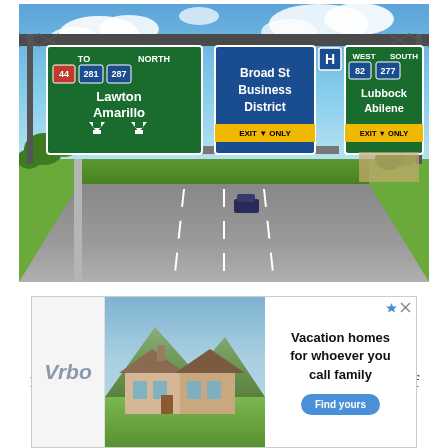[Figure (photo): Highway photo showing overhead gantry signs: TO North 44, 281, 287 for Lawton and Amarillo (exit only arrows); Broad St Business District (exit only); West South 82, 277 for Lubbock and Abilene (exit only). Road ahead with overpass bridges and a car driving. Hospital H sign visible.]
U.S. 82 west separates with U.S. 281/287 north ahead of the Central Freeway viaducts and IH 44 to join U.S. 277 southbound along the Kell Freeway. First proposed in 1964, the Kell Freeway was completed with the opening of a 3.5 mile segment west from Fairway Boulevard to
[Figure (screenshot): Vrbo advertisement banner showing a mountain vacation home photo with text: Vacation homes for whoever you call family, and a Find yours button.]